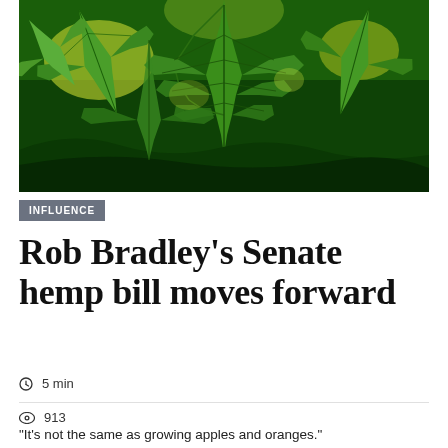[Figure (photo): Close-up photograph of large green cannabis/hemp leaves filling the frame, with yellow-green sunlight visible through the leaves]
INFLUENCE
Rob Bradley's Senate hemp bill moves forward
5 min
913
"It's not the same as growing apples and oranges."